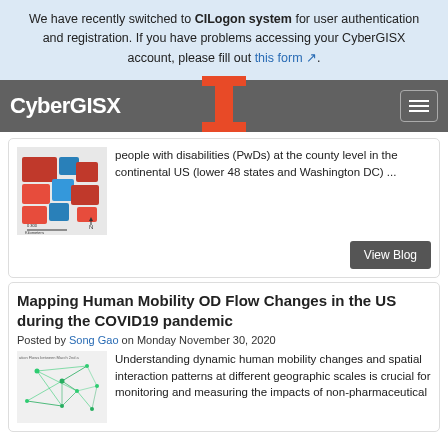We have recently switched to CILogon system for user authentication and registration. If you have problems accessing your CyberGISX account, please fill out this form.
CyberGISX
people with disabilities (PwDs) at the county level in the continental US (lower 48 states and Washington DC) ...
View Blog
Mapping Human Mobility OD Flow Changes in the US during the COVID19 pandemic
Posted by Song Gao on Monday November 30, 2020
Understanding dynamic human mobility changes and spatial interaction patterns at different geographic scales is crucial for monitoring and measuring the impacts of non-pharmaceutical